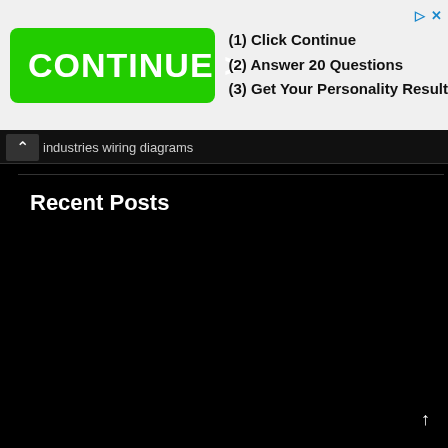[Figure (screenshot): Advertisement banner with green CONTINUE > button and steps: (1) Click Continue, (2) Answer 20 Questions, (3) Get Your Personality Result]
industries wiring diagrams
Recent Posts